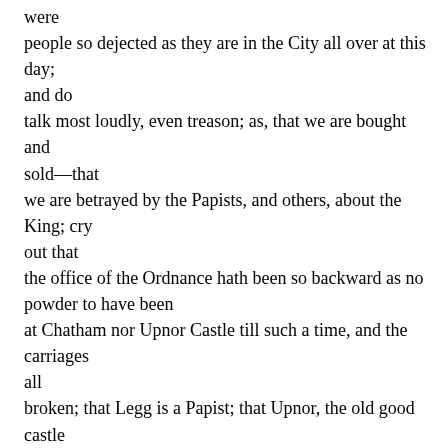were people so dejected as they are in the City all over at this day; and do talk most loudly, even treason; as, that we are bought and sold—that we are betrayed by the Papists, and others, about the King; cry out that the office of the Ordnance hath been so backward as no powder to have been at Chatham nor Upnor Castle till such a time, and the carriages all broken; that Legg is a Papist; that Upnor, the old good castle built by Queen Elizabeth, should be lately slighted; that the ships at Chatham should not be carried up higher. They look upon us as lost, and remove their families and rich goods in the City; and do think verily that the French, being come down with his army to Dunkirke, it is to